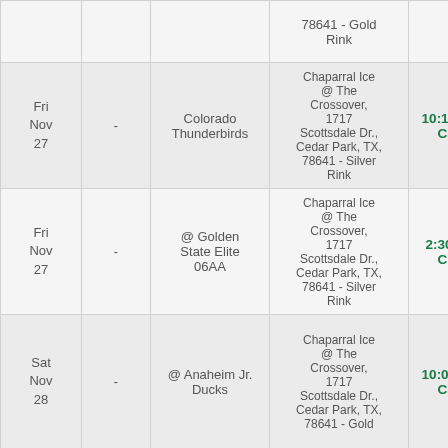| Date |  | Opponent | Location | Time |
| --- | --- | --- | --- | --- |
|  |  |  | 78641 - Gold Rink |  |
| Fri
Nov
27 | - | Colorado Thunderbirds | Chaparral Ice @ The Crossover, 1717 Scottsdale Dr., Cedar Park, TX, 78641 - Silver Rink | 10:15 AM CST |
| Fri
Nov
27 | - | @ Golden State Elite 06AA | Chaparral Ice @ The Crossover, 1717 Scottsdale Dr., Cedar Park, TX, 78641 - Silver Rink | 2:30 PM CST |
| Sat
Nov
28 | - | @ Anaheim Jr. Ducks | Chaparral Ice @ The Crossover, 1717 Scottsdale Dr., Cedar Park, TX, 78641 - Gold Rink (partial) | 10:00 AM CST |